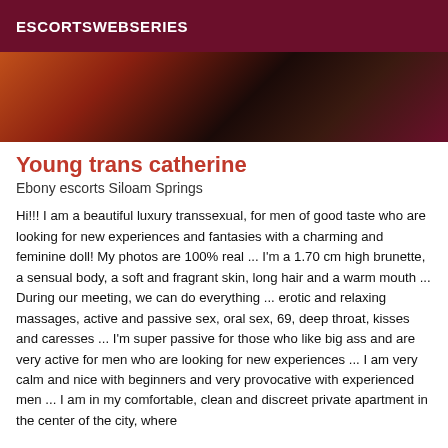ESCORTSWEBSERIES
[Figure (photo): Cropped photo showing red and dark tones, partial view of a person]
Young trans catherine
Ebony escorts Siloam Springs
Hi!!! I am a beautiful luxury transsexual, for men of good taste who are looking for new experiences and fantasies with a charming and feminine doll! My photos are 100% real ... I'm a 1.70 cm high brunette, a sensual body, a soft and fragrant skin, long hair and a warm mouth ... During our meeting, we can do everything ... erotic and relaxing massages, active and passive sex, oral sex, 69, deep throat, kisses and caresses ... I'm super passive for those who like big ass and are very active for men who are looking for new experiences ... I am very calm and nice with beginners and very provocative with experienced men ... I am in my comfortable, clean and discreet private apartment in the center of the city, where